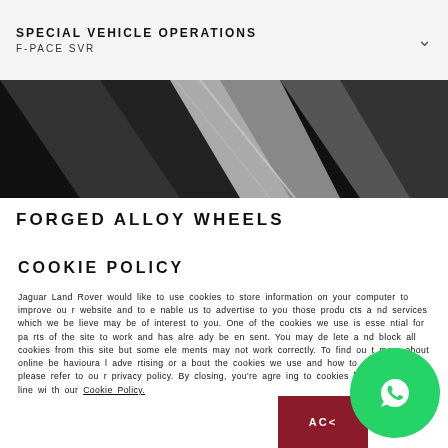SPECIAL VEHICLE OPERATIONS
F-PACE SVR
[Figure (photo): Close-up of vehicle forged alloy wheel spokes in black and silver]
FORGED ALLOY WHEELS
COOKIE POLICY
Jaguar Land Rover would like to use cookies to store information on your computer to improve our website and to enable us to advertise to you those products and services which we believe may be of interest to you. One of the cookies we use is essential for parts of the site to work and has already been sent. You may delete and block all cookies from this site but some elements may not work correctly. To find out more about online behavioural advertising or about the cookies we use and how to delete them, please refer to our privacy policy. By closing, you're agreeing to cookies being used in line with our Cookie Policy.
[Figure (other): Green WhatsApp button circle icon with phone handset symbol]